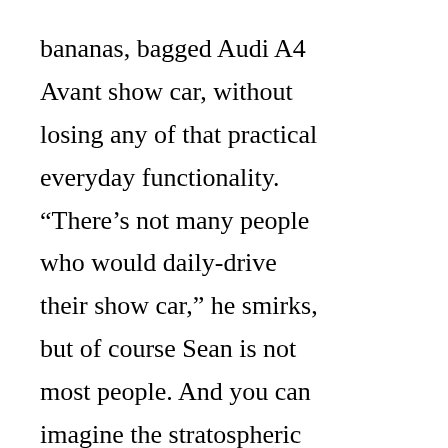bananas, bagged Audi A4 Avant show car, without losing any of that practical everyday functionality. “There’s not many people who would daily-drive their show car,” he smirks, but of course Sean is not most people. And you can imagine the stratospheric levels of eyebrow-raising he’s provoking as he cruises to work in this wildn and wacky estate car/racecar mish-mash.

This isn’t Sean’s first Audi – he’s previously owned a 2006 A3 and a 2007 A5 coupe – and